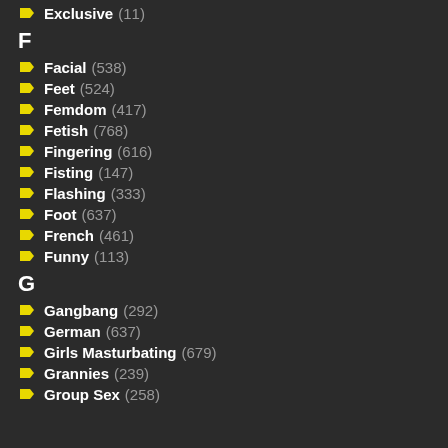Exclusive (11)
F
Facial (538)
Feet (524)
Femdom (417)
Fetish (768)
Fingering (616)
Fisting (147)
Flashing (333)
Foot (637)
French (461)
Funny (113)
G
Gangbang (292)
German (637)
Girls Masturbating (679)
Grannies (239)
Group Sex (258)